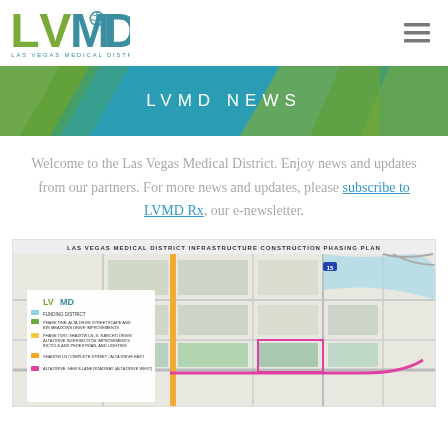[Figure (logo): LVMD Las Vegas Medical District logo with caduceus symbol]
[Figure (illustration): Hamburger menu icon (three horizontal lines) in top right corner]
[Figure (illustration): LVMD NEWS banner with teal and green angular geometric background]
Welcome to the Las Vegas Medical District. Enjoy news and updates from our partners. For more news and updates, please subscribe to LVMD Rx, our e-newsletter.
[Figure (map): Las Vegas Medical District Infrastructure Construction Phasing Plan map showing street layout with colored zones and LVMD logo legend]